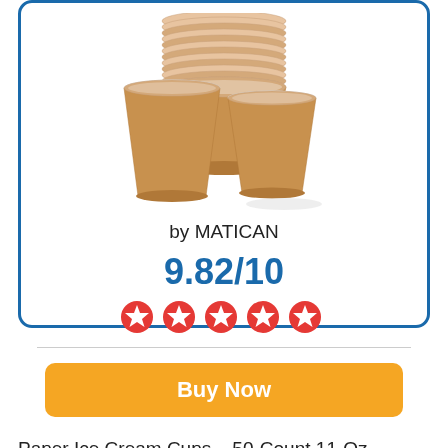[Figure (photo): Stack of kraft brown paper ice cream/soup cups, multiple cups stacked high behind two individual cups in front, on white background]
by MATICAN
9.82/10
[Figure (other): Five red star rating icons in a row]
Buy Now
Paper Ice Cream Cups - 50-Count 11-Oz Disposable Dessert Bowls for Hot or Cold Food, 11-Ounce Party Supplies Treat Cups for Sundae, Frozen Yogurt, Soup, Brown